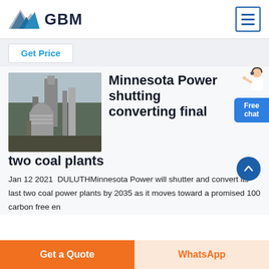[Figure (logo): GBM logo with blue mountain/triangle graphic and bold GBM text]
Get Price
[Figure (photo): Industrial coal plant or processing facility with large metal pipes, towers and structures]
Minnesota Power shutting converting final two coal plants
Jan 12 2021  DULUTHMinnesota Power will shutter and convert its last two coal power plants by 2035 as it moves toward a promised 100 carbon free en
[Figure (illustration): Customer service representative figure with Free chat button]
Get a Quote
WhatsApp